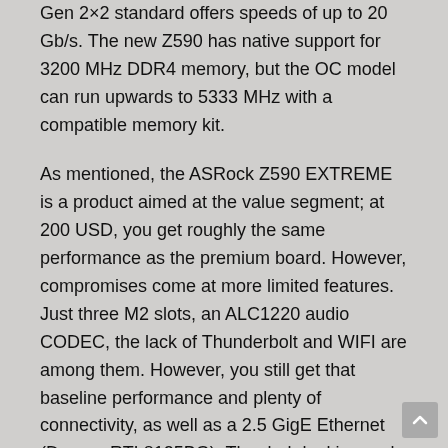Gen 2×2 standard offers speeds of up to 20 Gb/s. The new Z590 has native support for 3200 MHz DDR4 memory, but the OC model can run upwards to 5333 MHz with a compatible memory kit.
As mentioned, the ASRock Z590 EXTREME is a product aimed at the value segment; at 200 USD, you get roughly the same performance as the premium board. However, compromises come at more limited features. Just three M2 slots, an ALC1220 audio CODEC, the lack of Thunderbolt and WIFI are among them. However, you still get that baseline performance and plenty of connectivity, as well as a 2.5 GigE Ethernet (Dragon RTL8125BG). The dark-looking and themed motherboard can be customized LEDs-wise. The motherboard offers your typical x16 PCI-Express slots (with Rocket lake x16 Gen 4.0 lanes are supported), good outfitted rear IO, and LED configurable options. ASRock kept some stuff relatively simple, the ALX1200 CODEC over the new 7.1 Realtek ALC4082